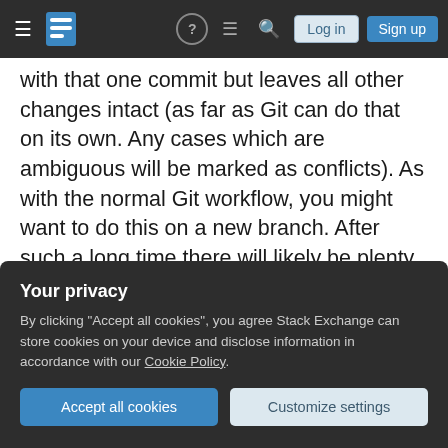Stack Exchange navigation bar with hamburger menu, logo, help, chat, search icons, Log in and Sign up buttons
with that one commit but leaves all other changes intact (as far as Git can do that on its own. Any cases which are ambiguous will be marked as conflicts). As with the normal Git workflow, you might want to do this on a new branch. After such a long time there will likely be plenty of conflicts. Not just of the syntactical kind Git notices by itself but also some of the logical kind you only see when you test the code (like the old design not working well with the new features you added over the past months). You will likely need a couple more commits
Your privacy
By clicking "Accept all cookies", you agree Stack Exchange can store cookies on your device and disclose information in accordance with our Cookie Policy.
Accept all cookies  Customize settings